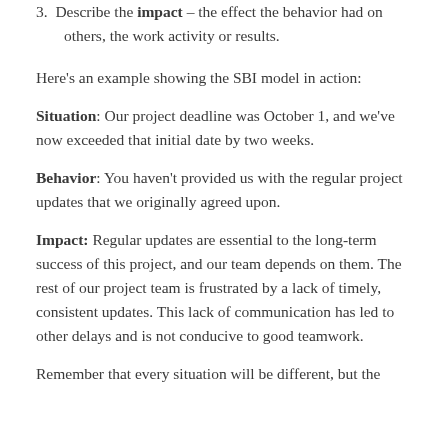3. Describe the impact – the effect the behavior had on others, the work activity or results.
Here's an example showing the SBI model in action:
Situation: Our project deadline was October 1, and we've now exceeded that initial date by two weeks.
Behavior: You haven't provided us with the regular project updates that we originally agreed upon.
Impact: Regular updates are essential to the long-term success of this project, and our team depends on them. The rest of our project team is frustrated by a lack of timely, consistent updates. This lack of communication has led to other delays and is not conducive to good teamwork.
Remember that every situation will be different, but the